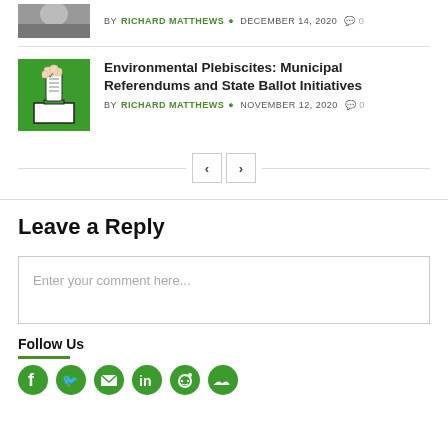[Figure (photo): Partial top image of a person, cropped]
BY RICHARD MATTHEWS | DECEMBER 14, 2020 | 0 comments
[Figure (illustration): Green square illustration showing a hand inserting a ballot into a ballot box]
Environmental Plebiscites: Municipal Referendums and State Ballot Initiatives
BY RICHARD MATTHEWS | NOVEMBER 12, 2020 | 0 comments
Pagination: previous and next buttons
Leave a Reply
Enter your comment here...
Follow Us
[Figure (infographic): Social media icons: Facebook, Twitter, Email, LinkedIn, Reddit, Soundcloud]